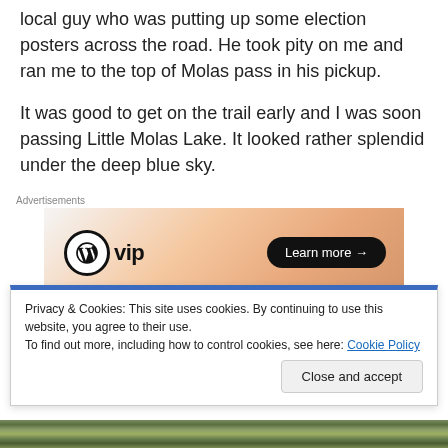local guy who was putting up some election posters across the road. He took pity on me and ran me to the top of Molas pass in his pickup.
It was good to get on the trail early and I was soon passing Little Molas Lake. It looked rather splendid under the deep blue sky.
[Figure (screenshot): WordPress VIP advertisement banner with logo on left and 'Learn more →' button on right, on a peach/orange gradient background]
Privacy & Cookies: This site uses cookies. By continuing to use this website, you agree to their use.
To find out more, including how to control cookies, see here: Cookie Policy
[Figure (photo): Bottom strip of a landscape/nature photo showing green vegetation]